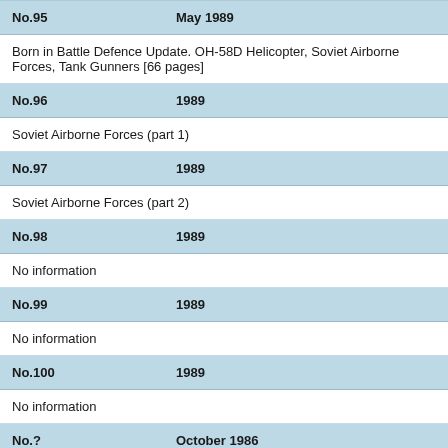| No. | Date |
| --- | --- |
| No.95 | May 1989 |
| Born in Battle Defence Update. OH-58D Helicopter, Soviet Airborne Forces, Tank Gunners [66 pages] |  |
| No.96 | 1989 |
| Soviet Airborne Forces (part 1) |  |
| No.97 | 1989 |
| Soviet Airborne Forces (part 2) |  |
| No.98 | 1989 |
| No information |  |
| No.99 | 1989 |
| No information |  |
| No.100 | 1989 |
| No information |  |
| No.? | October 1986 |
| Aerial Minesweeping |  |